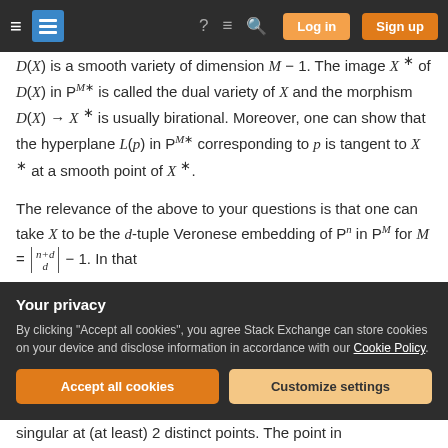Stack Exchange navigation bar with hamburger menu, logo, help, chat, search icons, Log in and Sign up buttons
D(X) is a smooth variety of dimension M − 1. The image X* of D(X) in P^{M*} is called the dual variety of X and the morphism D(X) → X* is usually birational. Moreover, one can show that the hyperplane L(p) in P^{M*} corresponding to p is tangent to X* at a smooth point of X*.
The relevance of the above to your questions is that one can take X to be the d-tuple Veronese embedding of P^n in P^M for M = \binom{n+d}{d} − 1. In that
singular at (at least) 2 distinct points. The point in